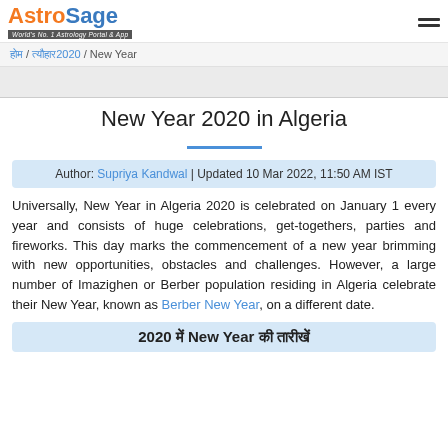AstroSage - World's No. 1 Astrology Portal & App
होम / त्यौहार2020 / New Year
New Year 2020 in Algeria
Author: Supriya Kandwal | Updated 10 Mar 2022, 11:50 AM IST
Universally, New Year in Algeria 2020 is celebrated on January 1 every year and consists of huge celebrations, get-togethers, parties and fireworks. This day marks the commencement of a new year brimming with new opportunities, obstacles and challenges. However, a large number of Imazighen or Berber population residing in Algeria celebrate their New Year, known as Berber New Year, on a different date.
2020 में New Year की तारीखें